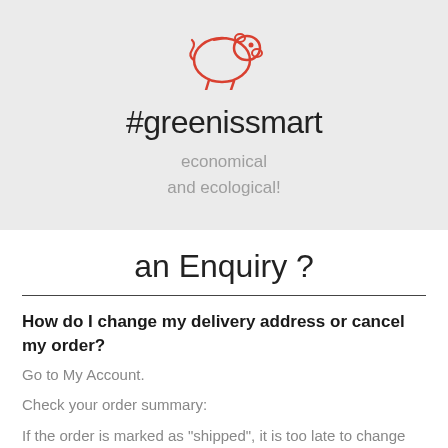[Figure (illustration): Red outline piggy bank icon with a small red dot for the eye]
#greenissmart
economical
and ecological!
an Enquiry ?
How do I change my delivery address or cancel my order?
Go to My Account.
Check your order summary:
If the order is marked as "shipped", it is too late to change the